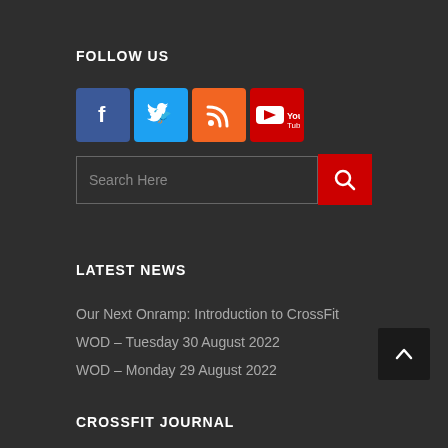FOLLOW US
[Figure (illustration): Social media icons: Facebook (blue), Twitter (light blue), RSS (orange), YouTube (red with YouTube text)]
Search Here
LATEST NEWS
Our Next Onramp: Introduction to CrossFit
WOD – Tuesday 30 August 2022
WOD – Monday 29 August 2022
CROSSFIT JOURNAL